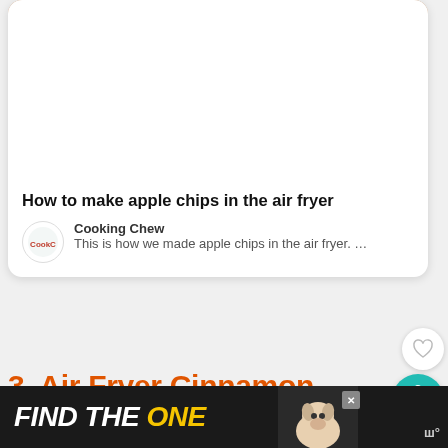[Figure (photo): Photo of apple chips with a rolled plaid red-and-white kitchen towel and dried apple slices visible in the background]
How to make apple chips in the air fryer
Cooking Chew
This is how we made apple chips in the air fryer. …
3.  Air Fryer Cinnamon Apple Rings
[Figure (infographic): WHAT'S NEXT banner showing '13 Fast & Furious...ly....' with a food image thumbnail]
FIND THE ONE